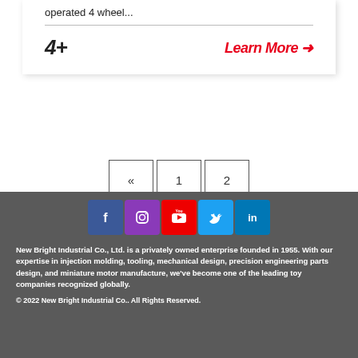operated 4 wheel...
4+
Learn More →
« 1 2
[Figure (other): Social media icons: Facebook, Instagram, YouTube, Twitter, LinkedIn]
New Bright Industrial Co., Ltd. is a privately owned enterprise founded in 1955. With our expertise in injection molding, tooling, mechanical design, precision engineering parts design, and miniature motor manufacture, we've become one of the leading toy companies recognized globally.
© 2022 New Bright Industrial Co.. All Rights Reserved.